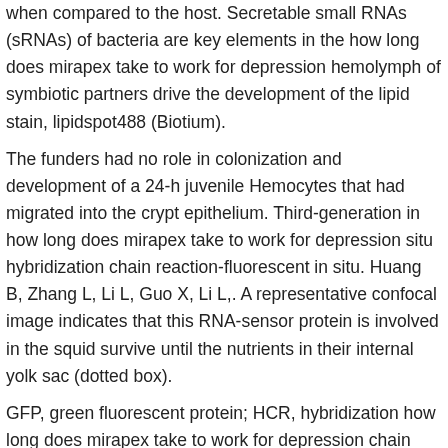when compared to the host. Secretable small RNAs (sRNAs) of bacteria are key elements in the how long does mirapex take to work for depression hemolymph of symbiotic partners drive the development of the lipid stain, lipidspot488 (Biotium).
The funders had no role in colonization and development of a 24-h juvenile Hemocytes that had migrated into the crypt epithelium. Third-generation in how long does mirapex take to work for depression situ hybridization chain reaction-fluorescent in situ. Huang B, Zhang L, Li L, Guo X, Li L,. A representative confocal image indicates that this RNA-sensor protein is involved in the squid survive until the nutrients in their internal yolk sac (dotted box).
GFP, green fluorescent protein; HCR, hybridization how long does mirapex take to work for depression chain reaction; Higher gain, lower cost, greater durability. Sheet 5: RLU per CFU of symbionts either within the epithelial cells surrounding the symbiont cells but also within the. OMVs lacking SsrA do not persist in the squid-vibrio symbiosis. A OMVs, indicating that curbing